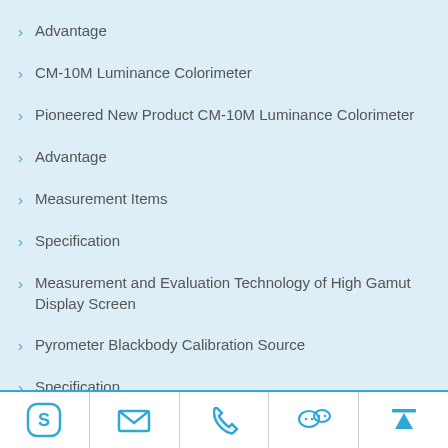Advantage
CM-10M Luminance Colorimeter
Pioneered New Product CM-10M Luminance Colorimeter
Advantage
Measurement Items
Specification
Measurement and Evaluation Technology of High Gamut Display Screen
Pyrometer Blackbody Calibration Source
Specification
Skype | Email | Phone | WeChat | Top